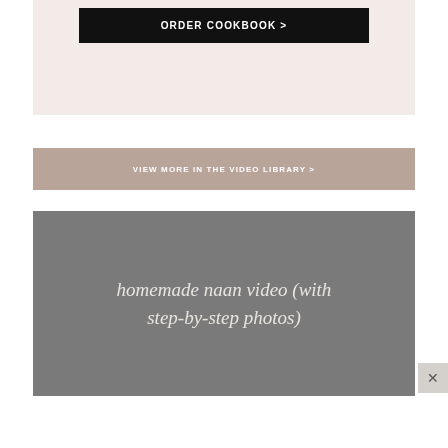[Figure (screenshot): Black button with white uppercase text reading ORDER COOKBOOK > on a light pinkish-beige background]
[Figure (screenshot): Taupe/tan banner button with white uppercase text reading VIEW MORE IN THE VIDEO LIBRARY >]
[Figure (screenshot): Gray rectangular video thumbnail with italic serif white text reading homemade naan video (with step-by-step photos)]
[Figure (screenshot): Small gray close/dismiss button with X symbol at bottom right]